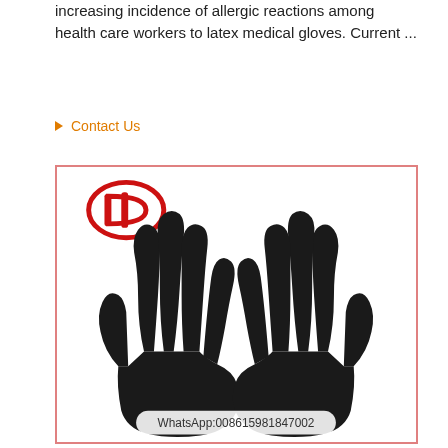increasing incidence of allergic reactions among health care workers to latex medical gloves. Current ...
▶ Contact Us
[Figure (photo): Two black nitrile/latex medical gloves displayed palm-forward on a white background, with a red company logo in the upper left corner and a WhatsApp contact number watermark at the bottom: WhatsApp:008615981847002]